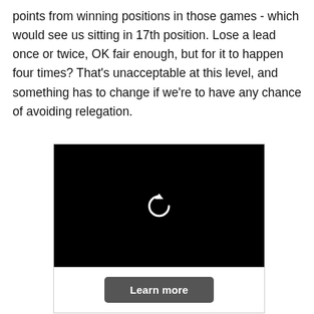points from winning positions in those games - which would see us sitting in 17th position. Lose a lead once or twice, OK fair enough, but for it to happen four times? That's unacceptable at this level, and something has to change if we're to have any chance of avoiding relegation.
[Figure (screenshot): Black video player with a white circular replay/refresh icon in the center, and a 'Learn more' dark button below.]